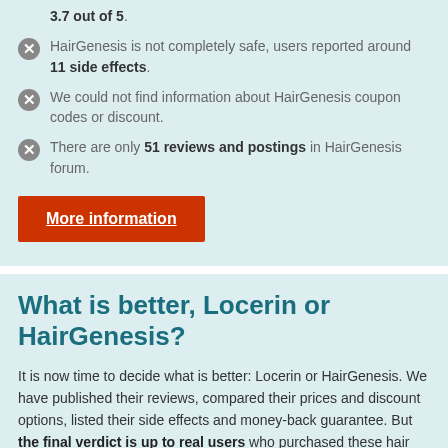3.7 out of 5.
HairGenesis is not completely safe, users reported around 11 side effects.
We could not find information about HairGenesis coupon codes or discount.
There are only 51 reviews and postings in HairGenesis forum.
More information
What is better, Locerin or HairGenesis?
It is now time to decide what is better: Locerin or HairGenesis. We have published their reviews, compared their prices and discount options, listed their side effects and money-back guarantee. But the final verdict is up to real users who purchased these hair loss pills and rated them based on their own experience with